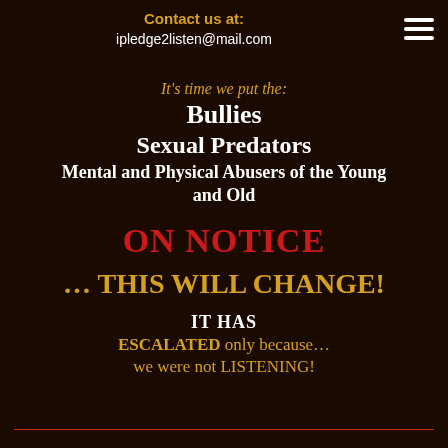Contact us at:
ipledge2listen@mail.com
It's time we put the:
Bullies
Sexual Predators
Mental and Physical Abusers of the Young and Old
ON NOTICE
… THIS WILL CHANGE!
IT HAS
ESCALATED only because…
we were not LISTENING!